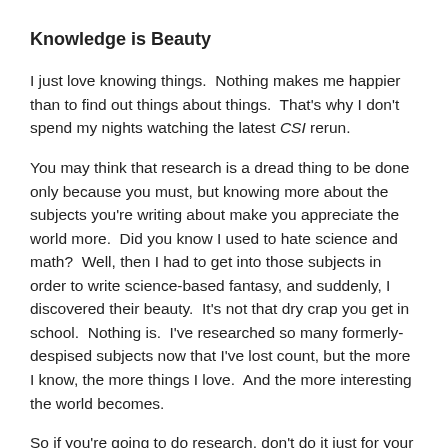Knowledge is Beauty
I just love knowing things.  Nothing makes me happier than to find out things about things.  That's why I don't spend my nights watching the latest CSI rerun.
You may think that research is a dread thing to be done only because you must, but knowing more about the subjects you're writing about make you appreciate the world more.  Did you know I used to hate science and math?  Well, then I had to get into those subjects in order to write science-based fantasy, and suddenly, I discovered their beauty.  It's not that dry crap you get in school.  Nothing is.  I've researched so many formerly-despised subjects now that I've lost count, but the more I know, the more things I love.  And the more interesting the world becomes.
So if you're going to do research, don't do it just for your books.  Do it for yourself.  Do it for the excuse to do crazy things you'd never in a million billion years do otherwise.  It's the best excuse ever: "Yeah, I had to take a Carribbean